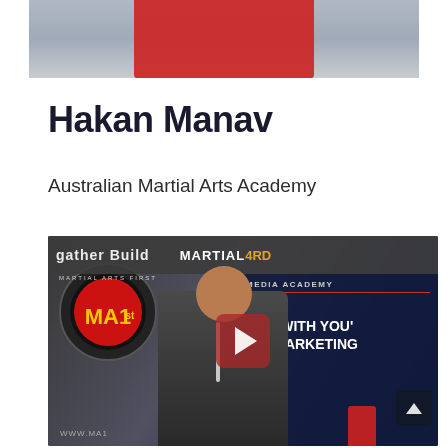[Figure (photo): Top cropped photo showing a person in a red shirt against a light grey/blue background]
Hakan Manav
Australian Martial Arts Academy
[Figure (screenshot): Video thumbnail showing a bald man in a suit jacket standing in front of martial arts event banners including MA1st logo and Martial 4RD Media Academy. Text on banners reads 'ONE WITH YOU' INE MARKETING'. A red play button overlay is visible in the center. A scroll-up arrow button appears in the bottom right corner.]